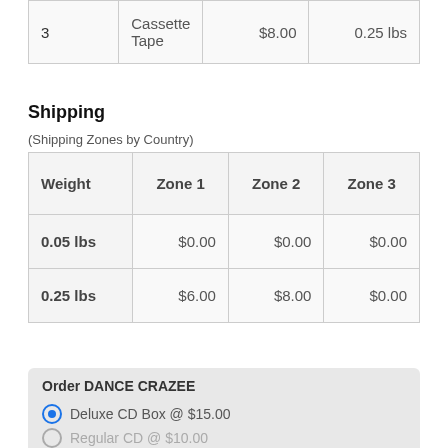| 3 | Cassette Tape | $8.00 | 0.25 lbs |
| --- | --- | --- | --- |
Shipping
(Shipping Zones by Country)
| Weight | Zone 1 | Zone 2 | Zone 3 |
| --- | --- | --- | --- |
| 0.05 lbs | $0.00 | $0.00 | $0.00 |
| 0.25 lbs | $6.00 | $8.00 | $0.00 |
Order DANCE CRAZEE
Deluxe CD Box @ $15.00
Regular CD @ $10.00